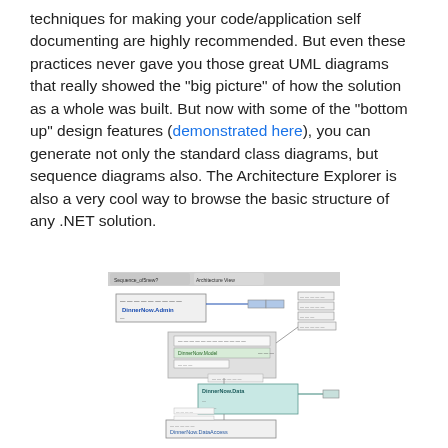techniques for making your code/application self documenting are highly recommended. But even these practices never gave you those great UML diagrams that really showed the "big picture" of how the solution as a whole was built. But now with some of the "bottom up" design features (demonstrated here), you can generate not only the standard class diagrams, but sequence diagrams also. The Architecture Explorer is also a very cool way to browse the basic structure of any .NET solution.
[Figure (screenshot): Screenshot of a UML/architecture diagram tool showing namespace nodes such as DinnerNow.Admin, DinnerNow.Data, and DinnerNow.DataAccess connected by lines and arrows in a dependency/layer diagram view.]